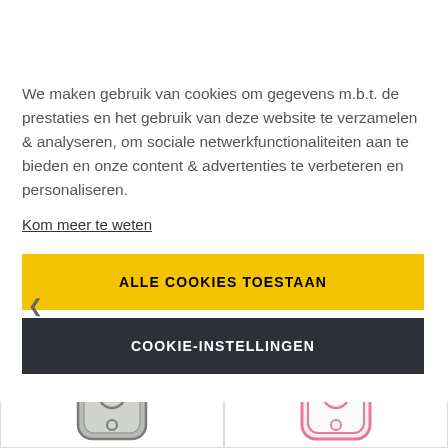Navigation bar with hamburger menu and cart icon (0)
We maken gebruik van cookies om gegevens m.b.t. de prestaties en het gebruik van deze website te verzamelen & analyseren, om sociale netwerkfunctionaliteiten aan te bieden en onze content & advertenties te verbeteren en personaliseren.
Kom meer te weten
ALLE COOKIES TOESTAAN
COOKIE-INSTELLINGEN
[Figure (photo): Two smartphone cases: left is a gray/silver case, right is a white case with pink accents, both for iPhone]